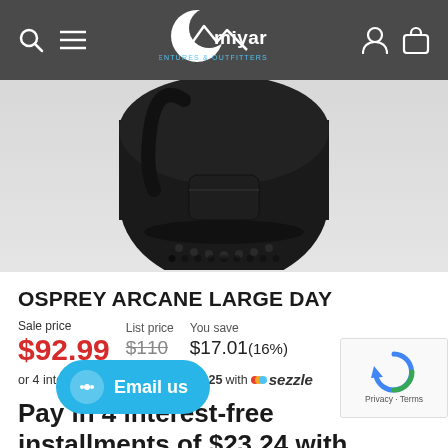[Figure (logo): Miyar Adventures & Outfitters logo with mountain and moon graphic in white on dark background]
[Figure (photo): Osprey Arcane Large Day backpack shown from behind, black color, on light gray background with carousel dots]
OSPREY ARCANE LARGE DAY
Sale price $92.99  List price $110  You save $17.01 (16%)
or 4 interest-free payments of $23.25 with sezzle
Pay in 4 interest-free installments of $23.24 with